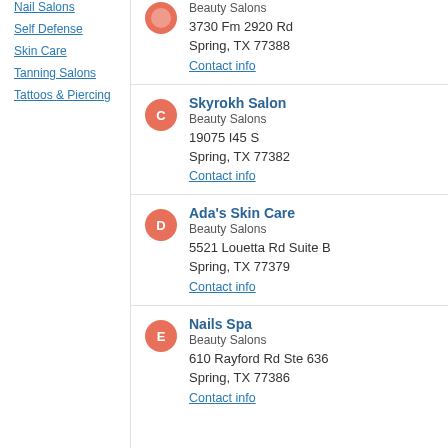Nail Salons
Self Defense
Skin Care
Tanning Salons
Tattoos & Piercing
Beauty Salons
3730 Fm 2920 Rd
Spring, TX 77388
Contact info
Skyrokh Salon
Beauty Salons
19075 I45 S
Spring, TX 77382
Contact info
Ada's Skin Care
Beauty Salons
5521 Louetta Rd Suite B
Spring, TX 77379
Contact info
Nails Spa
Beauty Salons
610 Rayford Rd Ste 636
Spring, TX 77386
Contact info